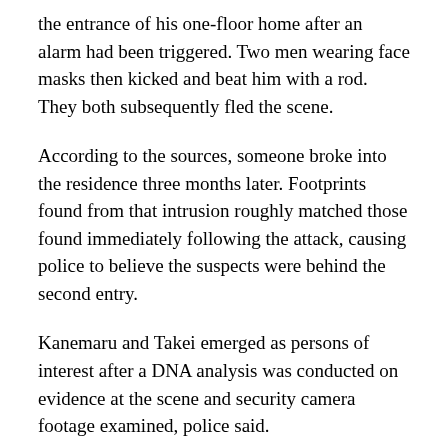the entrance of his one-floor home after an alarm had been triggered. Two men wearing face masks then kicked and beat him with a rod. They both subsequently fled the scene.
According to the sources, someone broke into the residence three months later. Footprints found from that intrusion roughly matched those found immediately following the attack, causing police to believe the suspects were behind the second entry.
Kanemaru and Takei emerged as persons of interest after a DNA analysis was conducted on evidence at the scene and security camera footage examined, police said.
Stab wounds to the abdomen
The suspects were arrested on suspicion of robbery